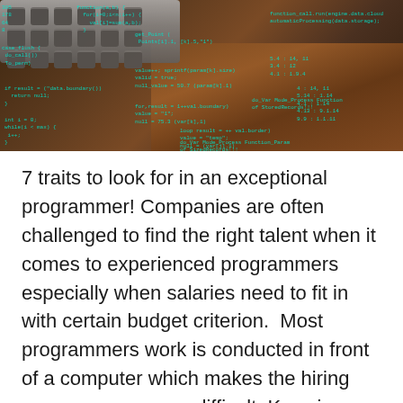[Figure (photo): A laptop keyboard on a wooden desk with cyan/teal programming code overlaid on the image, giving a technology/coding visual effect.]
7 traits to look for in an exceptional programmer! Companies are often challenged to find the right talent when it comes to experienced programmers especially when salaries need to fit in with certain budget criterion. Most programmers work is conducted in front of a computer which makes the hiring process even more difficult. Knowing